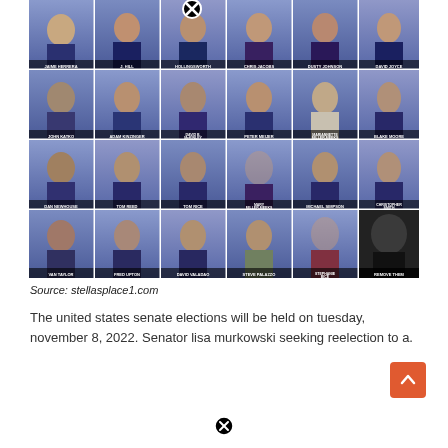[Figure (photo): Grid of 24 headshot photos of Republican House members who voted in favor of impeachment or certification, arranged in 4 rows of 6. Names include: JAIME HERRERA BEUTLER, J. HILL, HOLLINGSWORTH, CHRIS JACOBS, DUSTY JOHNSON, DAVID JOYCE, JOHN KATKO, ADAM KINZINGER, DAVID B. McKINLEY, PETER MEIJER, MARIANNETTE MILLER-MEEKS, BLAKE MOORE, DAN NEWHOUSE, TOM REED, TOM RICE, MARY MILLER-MEEKS, MICHAEL SIMPSON, CHRISTOPHER SMITH, VAN TAYLOR, FRED UPTON, DAVID VALADAO, STEVE PALAZZO, STEPHANIE BICE, REMOVE THEM. Final cell shows black and white photo labeled REMOVE THEM.]
Source: stellasplace1.com
The united states senate elections will be held on tuesday, november 8, 2022. Senator lisa murkowski seeking reelection to a.